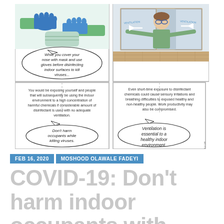[Figure (illustration): A four-panel comic strip about COVID-19 disinfection safety. Top-left panel: hands wearing blue gloves and a mask with speech bubble: 'While you cover your nose with mask and use gloves before disinfecting indoor surfaces to kill viruses...' Top-right panel: person opening windows/ventilation. Bottom-left panel: text about chemical exposure warning with speech bubble 'Don't harm occupants while killing viruses.' Bottom-right panel: text about short-time exposure with speech bubble 'Ventilation is essential to a healthy indoor environment.']
FEB 16, 2020 | MOSHOOD OLAWALE FADEYI
COVID-19: Don't harm indoor occupants with disinfectants you are